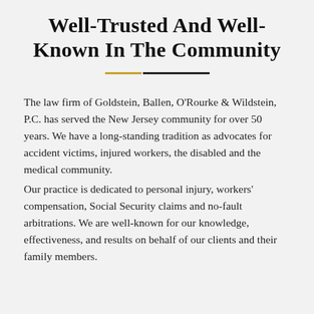Well-Trusted And Well-Known In The Community
The law firm of Goldstein, Ballen, O'Rourke & Wildstein, P.C. has served the New Jersey community for over 50 years. We have a long-standing tradition as advocates for accident victims, injured workers, the disabled and the medical community. Our practice is dedicated to personal injury, workers' compensation, Social Security claims and no-fault arbitrations. We are well-known for our knowledge, effectiveness, and results on behalf of our clients and their family members.